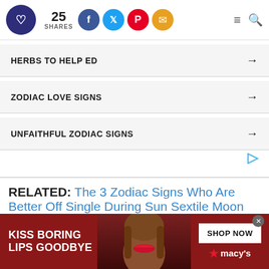25 SHARES — social share bar with Facebook, Twitter, Pinterest, Email icons; menu and search icons
HERBS TO HELP ED →
ZODIAC LOVE SIGNS →
UNFAITHFUL ZODIAC SIGNS →
RELATED: The 3 Zodiac Signs Who Are Better Off Single During Sun Sextile Moon On Thursday, August 25, 2022
[Figure (photo): Advertisement banner: KISS BORING LIPS GOODBYE with a woman's face showing red lips, SHOP NOW button, macy's logo]